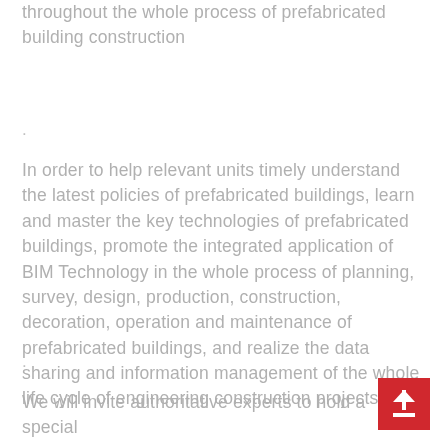throughout the whole process of prefabricated building construction
.
In order to help relevant units timely understand the latest policies of prefabricated buildings, learn and master the key technologies of prefabricated buildings, promote the integrated application of BIM Technology in the whole process of planning, survey, design, production, construction, decoration, operation and maintenance of prefabricated buildings, and realize the data sharing and information management of the whole life cycle of engineering construction projects
.
We will invite authoritative experts to hold a special